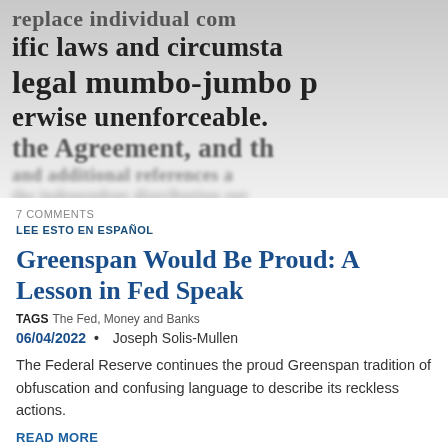[Figure (photo): Blurred/zoomed photograph of printed legal text showing partial words: 'replace individual com...', 'ific laws and circumsta...', 'legal mumbo-jumbo p...', 'erwise unenforceable.', 'the Agreement, and the...' with lower lines increasingly blurred]
7 COMMENTS
LEE ESTO EN ESPAÑOL
Greenspan Would Be Proud: A Lesson in Fed Speak
TAGS   The Fed, Money and Banks
06/04/2022  •  Joseph Solis-Mullen
The Federal Reserve continues the proud Greenspan tradition of obfuscation and confusing language to describe its reckless actions.
READ MORE